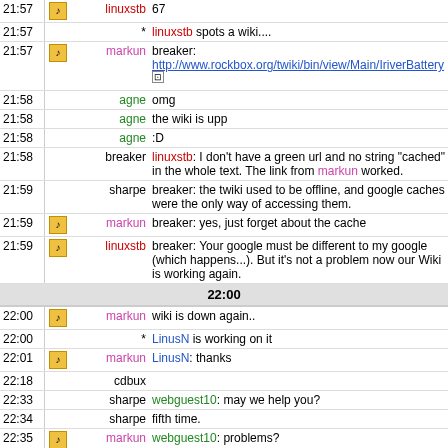| time | icon | nick | message |
| --- | --- | --- | --- |
| 21:57 | icon | linuxstb | 67 |
| 21:57 | * |  | linuxstb spots a wiki.... |
| 21:57 | icon | markun | breaker: http://www.rockbox.org/twiki/bin/view/Main/IriverBattery |
| 21:58 |  | agne | omg |
| 21:58 |  | agne | the wiki is upp |
| 21:58 |  | agne | :D |
| 21:58 |  | breaker | linuxstb: I don't have a green url and no string "cached" in the whole text. The link from markun worked. |
| 21:59 |  | sharpe | breaker: the twiki used to be offline, and google caches were the only way of accessing them. |
| 21:59 | icon | markun | breaker: yes, just forget about the cache |
| 21:59 | icon | linuxstb | breaker: Your google must be different to my google (which happens...). But it's not a problem now our Wiki is working again. |
| 22:00 |  |  | 22:00 |
| 22:00 | icon | markun | wiki is down again.. |
| 22:00 | * |  | LinusN is working on it |
| 22:01 | icon | markun | LinusN: thanks |
| 22:18 |  | cdbux |  |
| 22:33 |  | sharpe | webguest10: may we help you? |
| 22:34 |  | sharpe | fifth time. |
| 22:35 | icon | markun | webguest10: problems? |
| 22:35 |  | webguest10 | Yes I had, with my browser. Seems to be fixed. |
| 22:37 |  | sharpe | well then; may we help you today? :) |